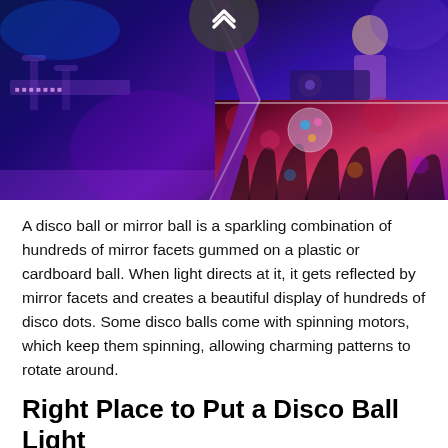[Figure (photo): Photo collage of nightclub/disco scenes: left panel shows a bar/stage area with blue and purple lighting; top-right panel shows a DJ or performer; bottom-right panel shows a crowd with hands raised under colorful disco lighting with a disco ball visible.]
A disco ball or mirror ball is a sparkling combination of hundreds of mirror facets gummed on a plastic or cardboard ball. When light directs at it, it gets reflected by mirror facets and creates a beautiful display of hundreds of disco dots. Some disco balls come with spinning motors, which keep them spinning, allowing charming patterns to rotate around.
Right Place to Put a Disco Ball Light
Disco ball lights hang from the ceiling, but it's not the only